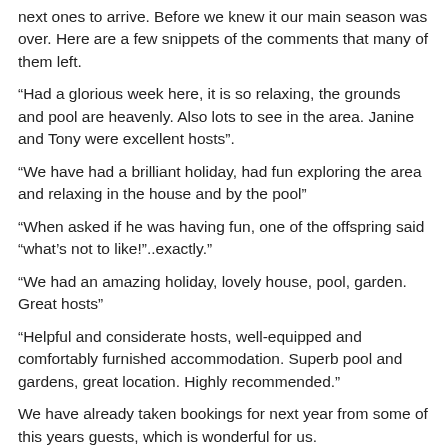next ones to arrive. Before we knew it our main season was over. Here are a few snippets of the comments that many of them left.
“Had a glorious week here, it is so relaxing, the grounds and pool are heavenly. Also lots to see in the area. Janine and Tony were excellent hosts”.
“We have had a brilliant holiday, had fun exploring the area and relaxing in the house and by the pool”
“When asked if he was having fun, one of the offspring said “what’s not to like!”..exactly.”
“We had an amazing holiday, lovely house, pool, garden. Great hosts”
“Helpful and considerate hosts, well-equipped and comfortably furnished accommodation. Superb pool and gardens, great location. Highly recommended.”
We have already taken bookings for next year from some of this years guests, which is wonderful for us.
As for us we are now permanently living in the open plan barn. We have a new doggie, he was an abandoned puppy at just 4 weeks